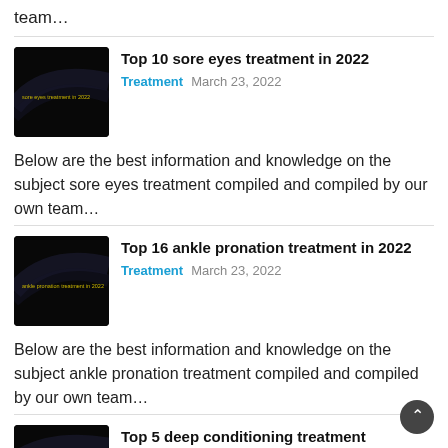team…
[Figure (photo): Dark thumbnail image with small yellow text reading 'sore eyes treatment in 2022']
Top 10 sore eyes treatment in 2022
Treatment   March 23, 2022
Below are the best information and knowledge on the subject sore eyes treatment compiled and compiled by our own team…
[Figure (photo): Dark thumbnail image with small yellow text reading 'ankle pronation treatment in 2022']
Top 16 ankle pronation treatment in 2022
Treatment   March 23, 2022
Below are the best information and knowledge on the subject ankle pronation treatment compiled and compiled by our own team…
[Figure (photo): Dark thumbnail image partially visible]
Top 5 deep conditioning treatment curly hair in 2022